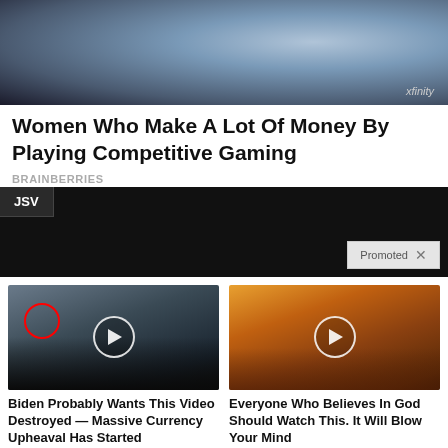[Figure (photo): Person in blue shirt at gaming event, partial face visible, xfinity logo visible]
Women Who Make A Lot Of Money By Playing Competitive Gaming
BRAINBERRIES
JSV
Promoted
[Figure (photo): Group of men in suits at CIA headquarters, one circled in red, video play button overlay]
Biden Probably Wants This Video Destroyed — Massive Currency Upheaval Has Started
308,362
[Figure (photo): Dramatic sky with sunbeams through clouds, video play button overlay]
Everyone Who Believes In God Should Watch This. It Will Blow Your Mind
65,664